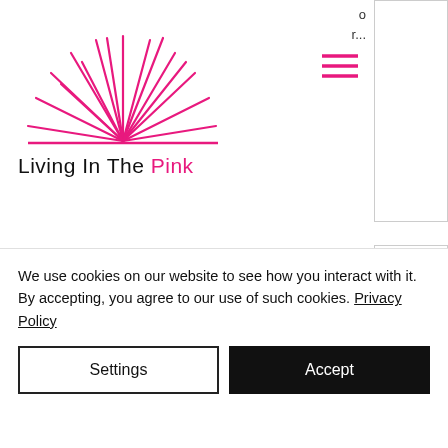[Figure (logo): Living In The Pink logo — pink sunburst rays above a horizontal pink line, with text 'Living In The Pink' where 'Pink' is in pink color]
[Figure (logo): Canal & River Trust logo — blue circle with white semicircle and horizontal lines, with bold blue text 'Canal & River Trust' and tagline 'Making life better by wate...' (truncated)]
We use cookies on our website to see how you interact with it. By accepting, you agree to our use of such cookies. Privacy Policy
Settings
Accept